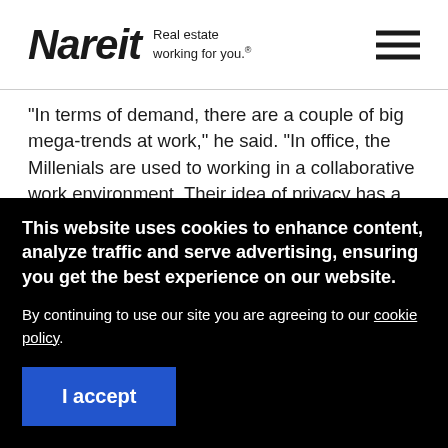Nareit Real estate working for you.
"In terms of demand, there are a couple of big mega-trends at work," he said. "In office, the Millenials are used to working in a collaborative work environment. Their idea of privacy has a lot more to do with putting headphones on that it does with closing an office door. Corporate America likes the collaborative environment,
This website uses cookies to enhance content, analyze traffic and serve advertising, ensuring you get the best experience on our website.
By continuing to use our site you are agreeing to our cookie policy.
I accept